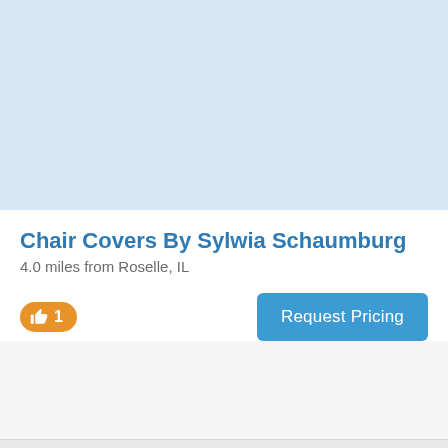[Figure (photo): Light blue placeholder image area representing a business photo]
Chair Covers By Sylwia Schaumburg
4.0 miles from Roselle, IL
👍 1  Request Pricing